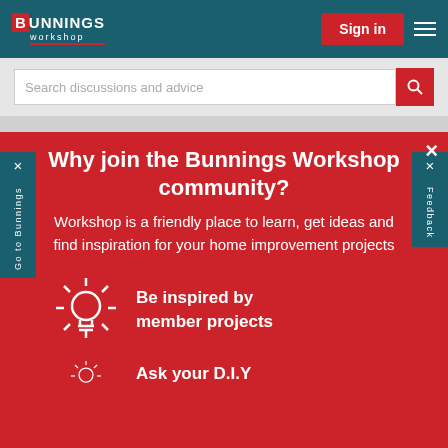[Figure (logo): Bunnings Workshop logo — white text on teal background with red B and red underline]
Sign in
Search discussions and advice
Why join the Bunnings Workshop community?
Workshop is a friendly place to learn, get ideas and find inspiration for your home improvement projects
Be inspired by member projects
Ask your D.I.Y